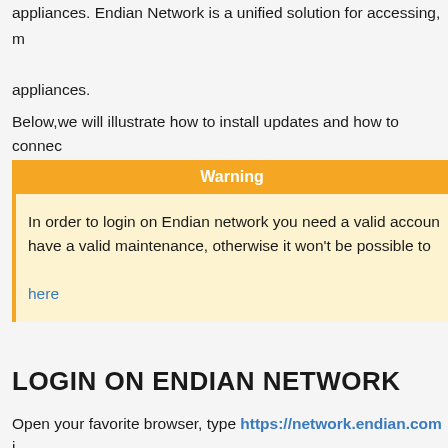appliances. Endian Network is a unified solution for accessing, m appliances.
Below,we will illustrate how to install updates and how to connec
Warning
In order to login on Endian network you need a valid accoun have a valid maintenance, otherwise it won't be possible to here
LOGIN ON ENDIAN NETWORK
Open your favorite browser, type https://network.endian.com i